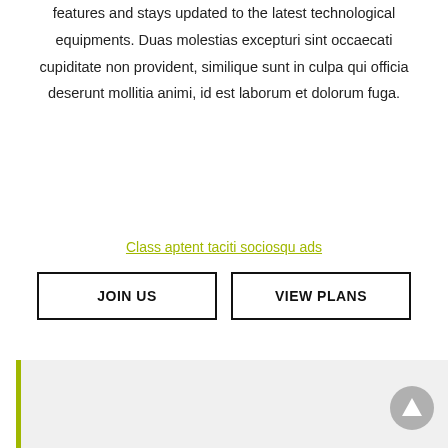features and stays updated to the latest technological equipments. Duas molestias excepturi sint occaecati cupiditate non provident, similique sunt in culpa qui officia deserunt mollitia animi, id est laborum et dolorum fuga.
Class aptent taciti sociosqu ads
JOIN US
VIEW PLANS